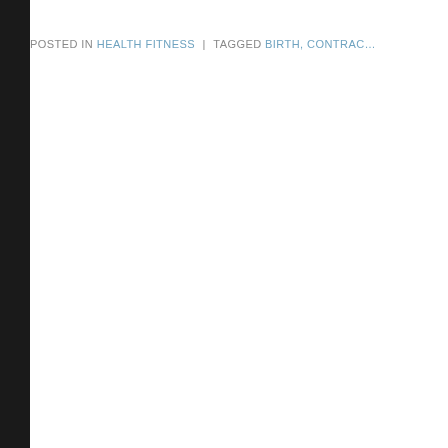POSTED IN HEALTH FITNESS | TAGGED BIRTH, CONTRAC...